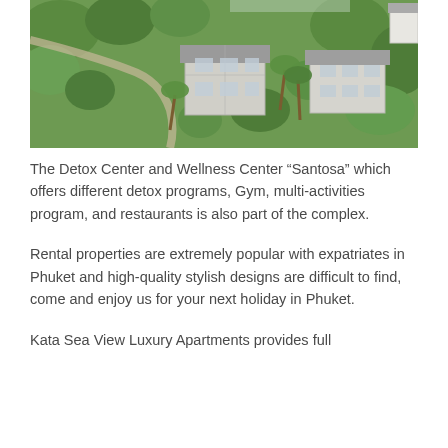[Figure (photo): Aerial view of a resort complex with white multi-storey buildings surrounded by lush tropical greenery and palm trees]
The Detox Center and Wellness Center “Santosa” which offers different detox programs, Gym, multi-activities program, and restaurants is also part of the complex.
Rental properties are extremely popular with expatriates in Phuket and high-quality stylish designs are difficult to find, come and enjoy us for your next holiday in Phuket.
Kata Sea View Luxury Apartments provides full